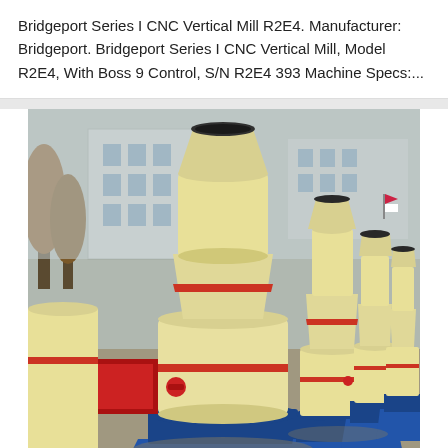Bridgeport Series I CNC Vertical Mill R2E4. Manufacturer: Bridgeport. Bridgeport Series I CNC Vertical Mill, Model R2E4, With Boss 9 Control, S/N R2E4 393 Machine Specs:...
[Figure (photo): Multiple yellow industrial grinding mills (Raymond mills) lined up outdoors in a factory yard. The machines have cylindrical bodies with conical tops and are mounted on blue steel frames/bases. A factory building is visible in the background along with trees.]